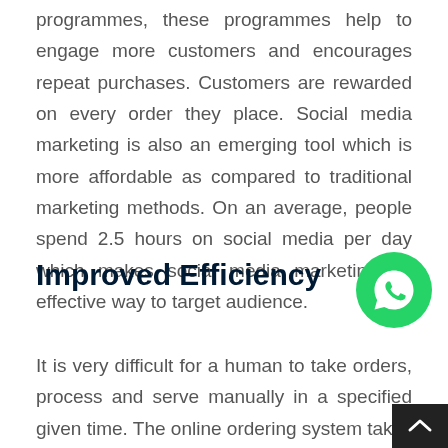programmes, these programmes help to engage more customers and encourages repeat purchases. Customers are rewarded on every order they place. Social media marketing is also an emerging tool which is more affordable as compared to traditional marketing methods. On an average, people spend 2.5 hours on social media per day which makes social media marketing an effective way to target audience.
Improved Efficiency
[Figure (logo): WhatsApp icon - green circle with white speech bubble phone icon]
It is very difficult for a human to take orders, process and serve manually in a specified given time. The online ordering system take